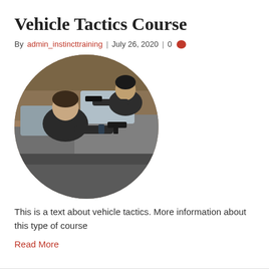Vehicle Tactics Course
By admin_instincttraining | July 26, 2020 | 0
[Figure (photo): Circular cropped photo of two people shooting firearms from inside a vehicle, tactical training scenario.]
This is a text about vehicle tactics. More information about this type of course
Read More